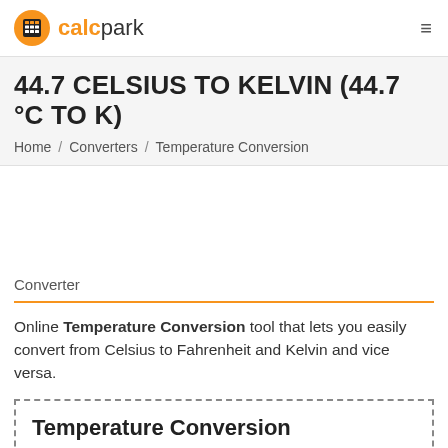calcpark
44.7 CELSIUS TO KELVIN (44.7 °C TO K)
Home / Converters / Temperature Conversion
Converter
Online Temperature Conversion tool that lets you easily convert from Celsius to Fahrenheit and Kelvin and vice versa.
Temperature Conversion